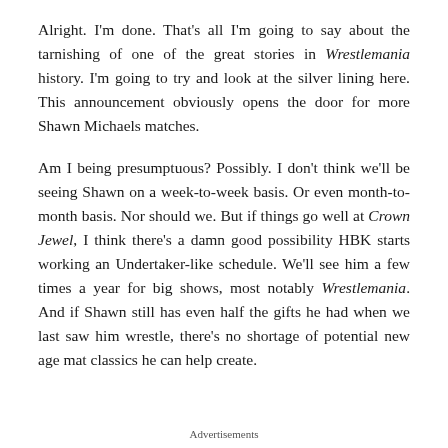Alright. I'm done. That's all I'm going to say about the tarnishing of one of the great stories in Wrestlemania history. I'm going to try and look at the silver lining here. This announcement obviously opens the door for more Shawn Michaels matches.
Am I being presumptuous? Possibly. I don't think we'll be seeing Shawn on a week-to-week basis. Or even month-to-month basis. Nor should we. But if things go well at Crown Jewel, I think there's a damn good possibility HBK starts working an Undertaker-like schedule. We'll see him a few times a year for big shows, most notably Wrestlemania. And if Shawn still has even half the gifts he had when we last saw him wrestle, there's no shortage of potential new age mat classics he can help create.
Advertisements